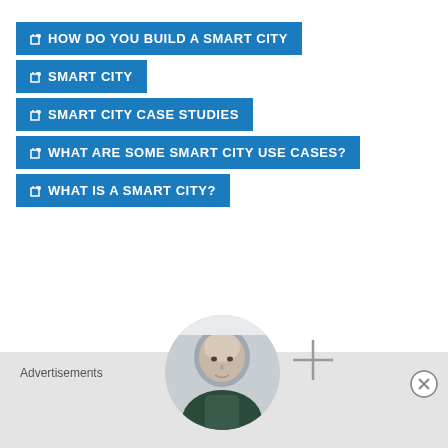HOW DO YOU BUILD A SMART CITY
SMART CITY
SMART CITY CASE STUDIES
WHAT ARE SOME SMART CITY USE CASES?
WHAT IS A SMART CITY?
[Figure (photo): Circular profile photo of a bald man with a plus/add icon overlay, positioned centered horizontally below the tag list, with a horizontal divider line]
Advertisements